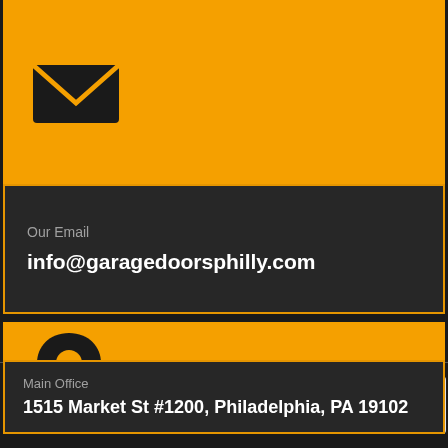[Figure (infographic): Orange background panel with a black envelope icon (mail icon) on the left side]
Our Email
info@garagedoorsphilly.com
[Figure (infographic): Orange background panel with a black map pin / location marker icon on the left side]
Main Office
1515 Market St #1200, Philadelphia, PA 19102
Serv Areas | Contact Us